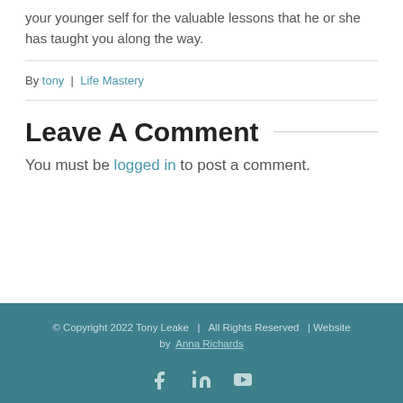your younger self for the valuable lessons that he or she has taught you along the way.
By tony | Life Mastery
Leave A Comment
You must be logged in to post a comment.
© Copyright 2022 Tony Leake | All Rights Reserved | Website by Anna Richards